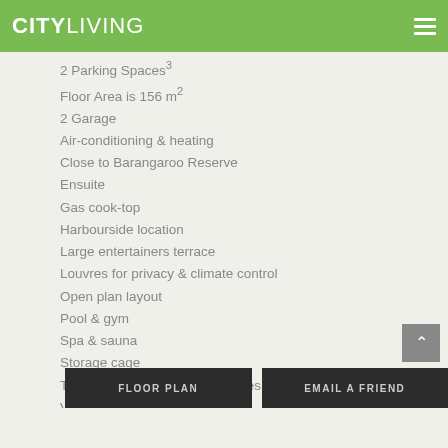CITY LIVING
2 Parking Spaces³
Floor Area is 156 m²
2 Garage
Air-conditioning & heating
Close to Barangaroo Reserve
Ensuite
Gas cook-top
Harbourside location
Large entertainers terrace
Louvres for privacy & climate control
Open plan layout
Pool & gym
Spa & sauna
Storage cage
Two secure basement car spaces
Video intercom